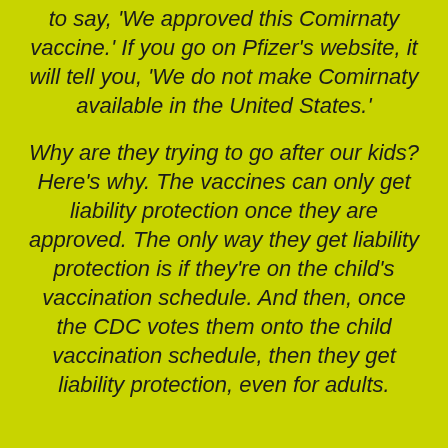to say, 'We approved this Comirnaty vaccine.' If you go on Pfizer's website, it will tell you, 'We do not make Comirnaty available in the United States.'
Why are they trying to go after our kids? Here's why. The vaccines can only get liability protection once they are approved. The only way they get liability protection is if they're on the child's vaccination schedule. And then, once the CDC votes them onto the child vaccination schedule, then they get liability protection, even for adults.